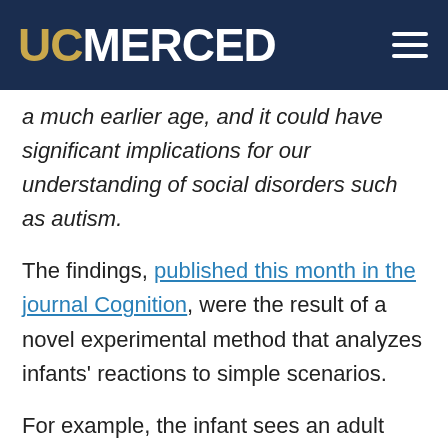UC MERCED
a much earlier age, and it could have significant implications for our understanding of social disorders such as autism.
The findings, published this month in the journal Cognition, were the result of a novel experimental method that analyzes infants' reactions to simple scenarios.
For example, the infant sees an adult shake two rattling toys. The adult leaves the room, and someone else comes in and “breaks” one of the toys so it no longer rattles. When the first person